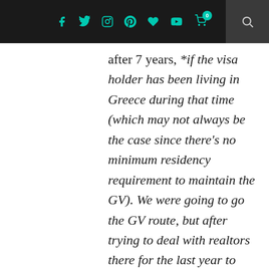Social media navigation bar with icons: Facebook, Twitter, Instagram, Pinterest, heart, YouTube, cart (0), search
after 7 years, *if the visa holder has been living in Greece during that time (which may not always be the case since there's no minimum residency requirement to maintain the GV). We were going to go the GV route, but after trying to deal with realtors there for the last year to find a home and feeling like it's a never ending cycle of cat